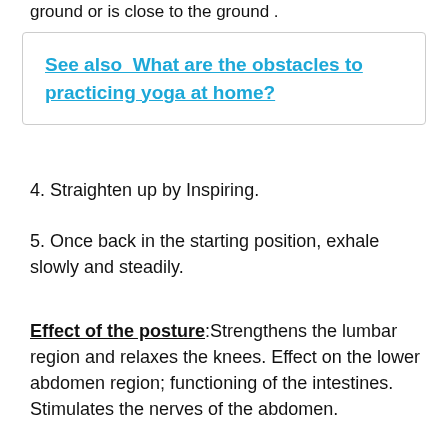ground or is close to the ground .
See also  What are the obstacles to practicing yoga at home?
4. Straighten up by Inspiring.
5. Once back in the starting position, exhale slowly and steadily.
Effect of the posture:Strengthens the lumbar region and relaxes the knees. Effect on the lower abdomen region; functioning of the intestines. Stimulates the nerves of the abdomen.